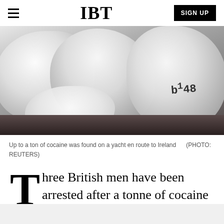IBT  SIGN UP
[Figure (photo): White plastic bags of cocaine seized from a yacht, labeled with numbers, against a dark surface]
Up to a ton of cocaine was found on a yacht en route to Ireland   (PHOTO: REUTERS)
Three British men have been arrested after a tonne of cocaine was seized from a yacht off the southwest coast of Ireland.